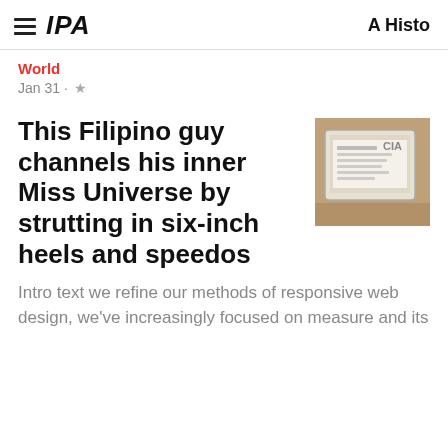IPA   A Histo
World
Jan 31 · ★
This Filipino guy channels his inner Miss Universe by strutting in six-inch heels and speedos
[Figure (photo): Thumbnail photo showing a tablet/newspaper on a surface, partial view of a news article]
Intro text we refine our methods of responsive web design, we've increasingly focused on measure and its